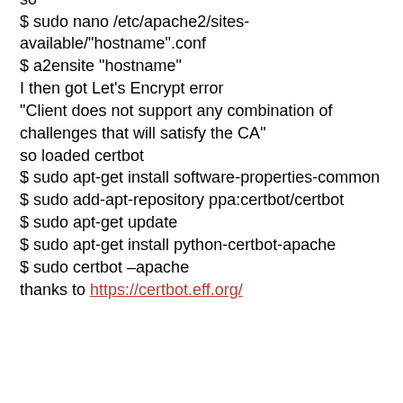$/etc/apache2/sites-available
so
$ sudo nano /etc/apache2/sites-available/"hostname".conf
$ a2ensite "hostname"
I then got Let's Encrypt error
"Client does not support any combination of challenges that will satisfy the CA"
so loaded certbot
$ sudo apt-get install software-properties-common
$ sudo add-apt-repository ppa:certbot/certbot
$ sudo apt-get update
$ sudo apt-get install python-certbot-apache
$ sudo certbot –apache
thanks to https://certbot.eff.org/